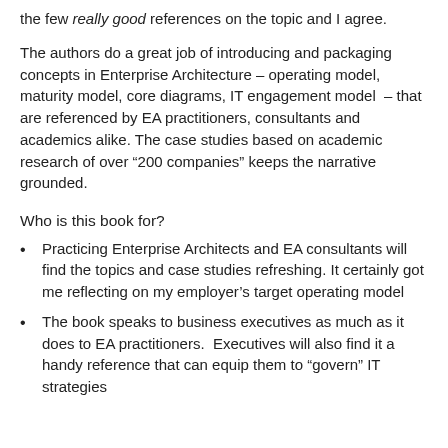the few really good references on the topic and I agree.
The authors do a great job of introducing and packaging concepts in Enterprise Architecture – operating model, maturity model, core diagrams, IT engagement model – that are referenced by EA practitioners, consultants and academics alike. The case studies based on academic research of over “200 companies” keeps the narrative grounded.
Who is this book for?
Practicing Enterprise Architects and EA consultants will find the topics and case studies refreshing. It certainly got me reflecting on my employer’s target operating model
The book speaks to business executives as much as it does to EA practitioners.  Executives will also find it a handy reference that can equip them to “govern” IT strategies